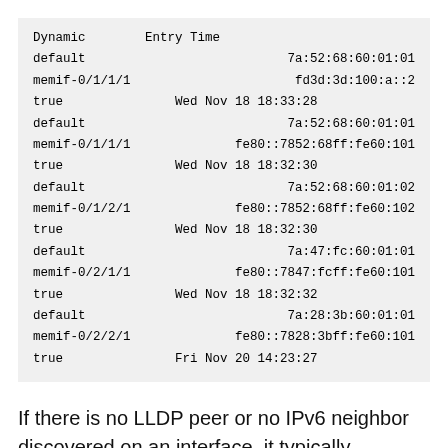| Dynamic | Entry Time |
| --- | --- |
| default |  | 7a:52:68:60:01:01 |
| memif-0/1/1/1 |  | fd3d:3d:100:a::2 |
| true | Wed Nov 18 18:33:28 |  |
| default |  | 7a:52:68:60:01:01 |
| memif-0/1/1/1 |  | fe80::7852:68ff:fe60:101 |
| true | Wed Nov 18 18:32:30 |  |
| default |  | 7a:52:68:60:01:02 |
| memif-0/1/2/1 |  | fe80::7852:68ff:fe60:102 |
| true | Wed Nov 18 18:32:30 |  |
| default |  | 7a:47:fc:60:01:01 |
| memif-0/2/1/1 |  | fe80::7847:fcff:fe60:101 |
| true | Wed Nov 18 18:32:32 |  |
| default |  | 7a:28:3b:60:01:01 |
| memif-0/2/2/1 |  | fe80::7828:3bff:fe60:101 |
| true | Fri Nov 20 14:23:27 |  |
If there is no LLDP peer or no IPv6 neighbor discovered on an interface, it typically indicates a connectivity issue. BGPv6 peers cannot be established. At this point, proceed with the following